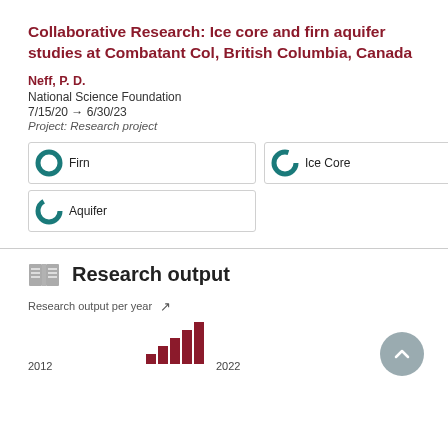Collaborative Research: Ice core and firn aquifer studies at Combatant Col, British Columbia, Canada
Neff, P. D.
National Science Foundation
7/15/20 → 6/30/23
Project: Research project
Firn
Ice Core
Aquifer
Research output
Research output per year
[Figure (bar-chart): Research output per year]